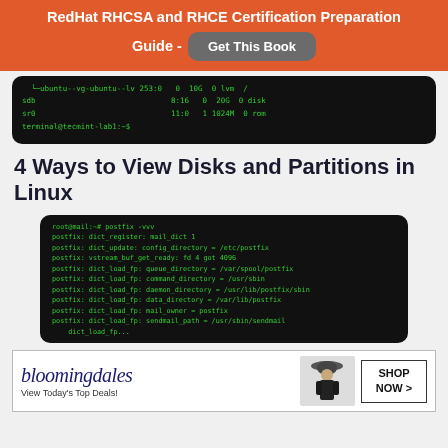RedHat RHCSA and RHCE Certification Preparation Guide - Get This Book
[Figure (screenshot): Terminal/command-line output showing disk partition information with lvm, sdb, sr0 entries in green text on black background]
4 Ways to View Disks and Partitions in Linux
[Figure (screenshot): Terminal output showing postfix -vvv command with multiple postfix: dict_register, dict_update, vstream_buf_get_ready, dict_load_fp entries for queue/command/daemon/data directory and mail owner settings]
[Figure (illustration): Bloomingdale's advertisement - View Today's Top Deals! with woman in hat and SHOP NOW button]